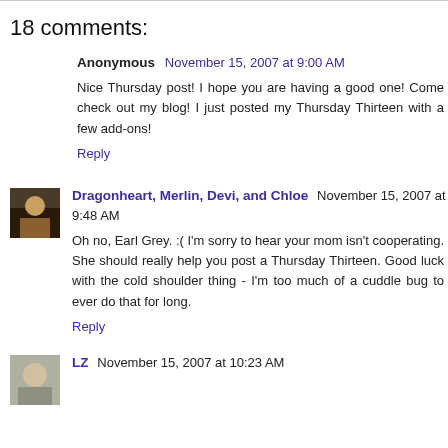18 comments:
Anonymous  November 15, 2007 at 9:00 AM
Nice Thursday post! I hope you are having a good one! Come check out my blog! I just posted my Thursday Thirteen with a few add-ons!
Reply
Dragonheart, Merlin, Devi, and Chloe  November 15, 2007 at 9:48 AM
Oh no, Earl Grey. :( I'm sorry to hear your mom isn't cooperating. She should really help you post a Thursday Thirteen. Good luck with the cold shoulder thing - I'm too much of a cuddle bug to ever do that for long.
Reply
LZ  November 15, 2007 at 10:23 AM